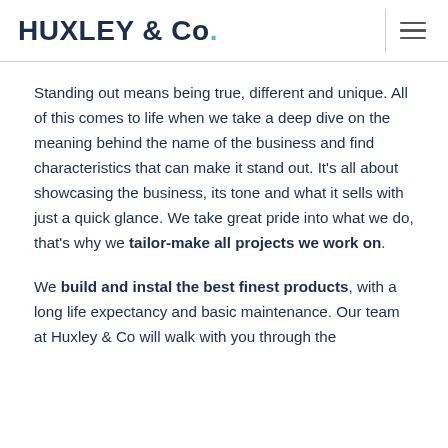HUXLEY & Co.
Standing out means being true, different and unique. All of this comes to life when we take a deep dive on the meaning behind the name of the business and find characteristics that can make it stand out. It's all about showcasing the business, its tone and what it sells with just a quick glance. We take great pride into what we do, that's why we tailor-make all projects we work on.
We build and instal the best finest products, with a long life expectancy and basic maintenance. Our team at Huxley & Co will walk with you through the